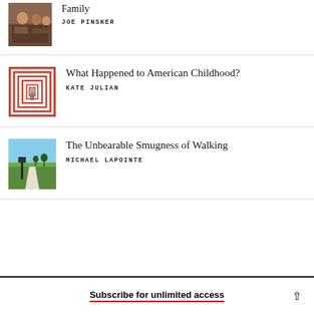[Figure (photo): People sitting around a table, family scene, warm tones]
Family
JOE PINSKER
[Figure (illustration): Red concentric squares spiral maze with a figure of a girl in center]
What Happened to American Childhood?
KATE JULIAN
[Figure (illustration): Illustrated path/walkway through green fields under blue sky]
The Unbearable Smugness of Walking
MICHAEL LAPOINTE
Subscribe for unlimited access